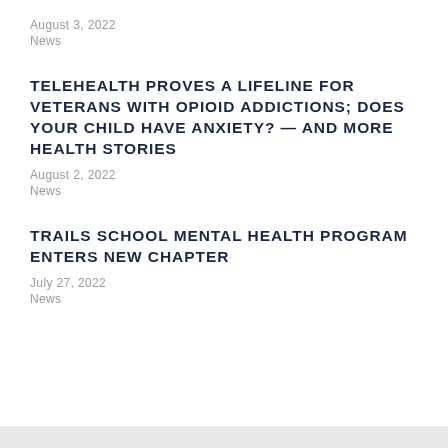August 3, 2022
News
TELEHEALTH PROVES A LIFELINE FOR VETERANS WITH OPIOID ADDICTIONS; DOES YOUR CHILD HAVE ANXIETY? — AND MORE HEALTH STORIES
August 2, 2022
News
TRAILS SCHOOL MENTAL HEALTH PROGRAM ENTERS NEW CHAPTER
July 27, 2022
News